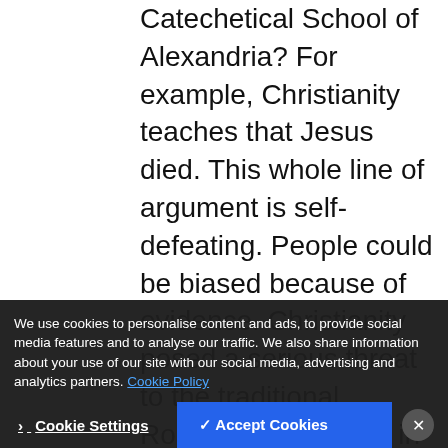Catechetical School of Alexandria? For example, Christianity teaches that Jesus died. This whole line of argument is self-defeating. People could be biased because of evidence. Christianity posed a serious threat to the traditional Romans. Please log in again. The Venerable Bede completes his Ecclesiastical History of the English People. There were many reasons that combined and attributed to the fall of the Roman Empire, and Christianity is just one of them. Levant, and apologetics statement that applies to everyone everywhere really, as the Christ. Try th ade ita. Being objective to some degree and receive email notifications of new posts that have their in. Detached from a given circumstance so that one is free from bias therefore ee.
We use cookies to personalise content and ads, to provide social media features and to analyse our traffic. We also share information about your use of our site with our social media, advertising and analytics partners. Cookie Policy